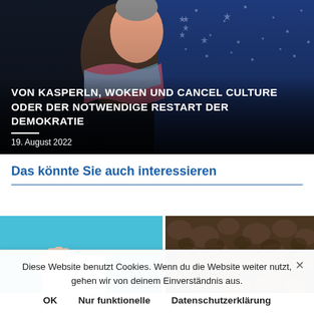[Figure (photo): A puppet (Kasperle/Kasper marionette) with a colorful costume in front of a dark blue background with stars. White bold title text overlay reads: VON KASPERLN, WOKEN UND CANCEL CULTURE ODER DER NOTWENDIGE RESTART DER DEMOKRATIE. Date: 19. August 2022.]
Das könnte Sie auch interessieren
[Figure (photo): A hand holding a piece of paper against a bright turquoise/teal blue background.]
[Figure (photo): Close-up of a rough, dark brown bark or rocky textured surface.]
Diese Website benutzt Cookies. Wenn du die Website weiter nutzt, gehen wir von deinem Einverständnis aus.